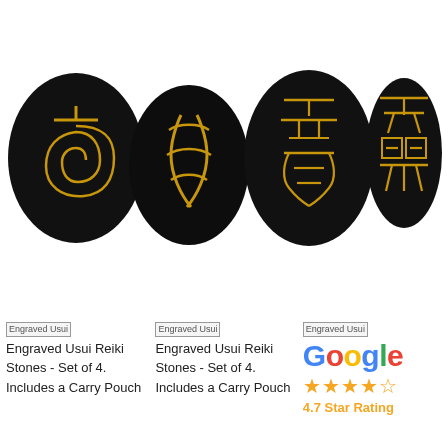[Figure (photo): Four black oval/egg-shaped reiki stones with golden engraved symbols on white background]
Engraved Usui Reiki Stones - Set of 4. Includes a Carry Pouch
Engraved Usui Reiki Stones - Set of 4. Includes a Carry Pouch
[Figure (logo): Google logo with 4.7 star rating badge]